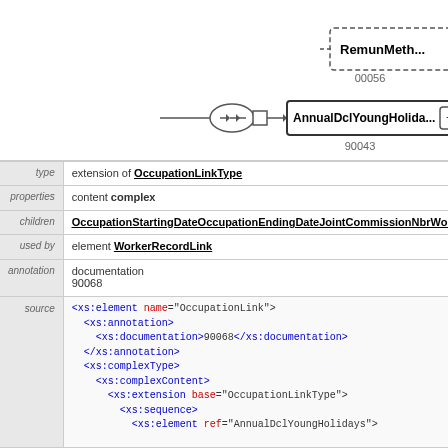[Figure (engineering-diagram): XML schema diagram showing RemunMeth... node (00056) in a yellow dashed box and AnnualDclYoungHolida... node (90043) connected via a sequence connector with expand button.]
| property | value |
| --- | --- |
| type | extension of OccupationLinkType |
| properties | content complex |
| children | OccupationStartingDateOccupationEndingDateJointCommissionNbrWorkingDays... |
| used by | element WorkerRecordLink |
| annotation | documentation
90068 |
| source | <xs:element name="OccupationLink">
  <xs:annotation>
    <xs:documentation>90068</xs:documentation>
  </xs:annotation>
  <xs:complexType>
    <xs:complexContent>
      <xs:extension base="OccupationLinkType">
        <xs:sequence>
          <xs:element ref="AnnualDclYoungHolidays"> |